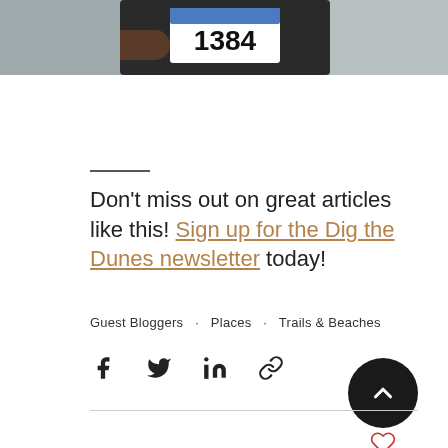[Figure (photo): Cropped photo of a runner wearing a race bib numbered 1384, holding hands out while running. Only the torso area is visible.]
Don't miss out on great articles like this! Sign up for the Dig the Dunes newsletter today!
Guest Bloggers · Places · Trails & Beaches
[Figure (other): Social share icons: Facebook, Twitter, LinkedIn, link/copy icon. Scroll-to-top button (dark circle with up chevron). Heart/like icon.]